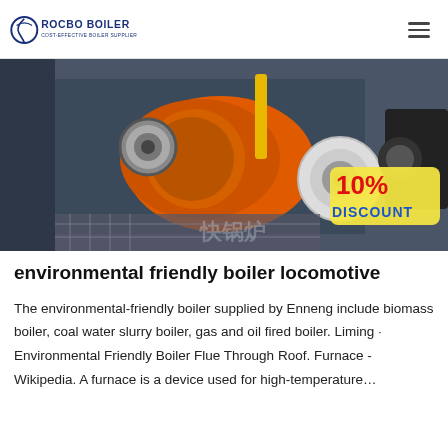ROCBO BOILER — COST-EFFECTIVE BOILER SUPPLIER
[Figure (photo): Industrial boiler burner unit in orange and black color, mounted in a facility. A '10% DISCOUNT' badge is visible in the lower right. Chinese text characters visible in background.]
environmental friendly boiler locomotive
The environmental-friendly boiler supplied by Enneng include biomass boiler, coal water slurry boiler, gas and oil fired boiler. Liming · Environmental Friendly Boiler Flue Through Roof. Furnace - Wikipedia. A furnace is a device used for high-temperature…